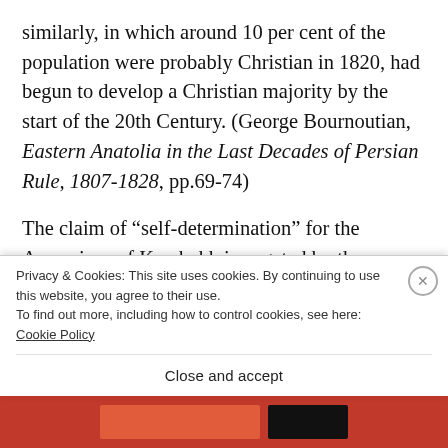similarly, in which around 10 per cent of the population were probably Christian in 1820, had begun to develop a Christian majority by the start of the 20th Century. (George Bournoutian, Eastern Anatolia in the Last Decades of Persian Rule, 1807-1828, pp.69-74)
The claim of “self-determination” for the Armenians of Karabakh is negated by the processes b...
Privacy & Cookies: This site uses cookies. By continuing to use this website, you agree to their use. To find out more, including how to control cookies, see here: Cookie Policy
Close and accept